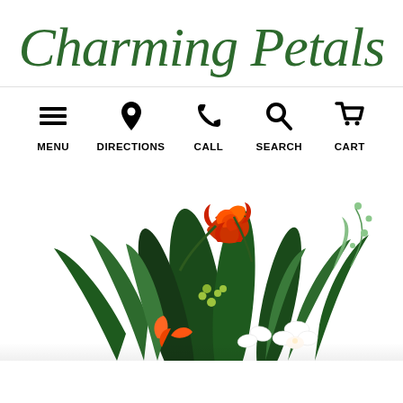Charming Petals
[Figure (infographic): Navigation bar with five icons: hamburger menu (MENU), location pin (DIRECTIONS), phone (CALL), magnifying glass (SEARCH), and shopping cart (CART)]
[Figure (photo): Floral arrangement featuring roses, tropical leaves, orchids, and various greenery against a white background]